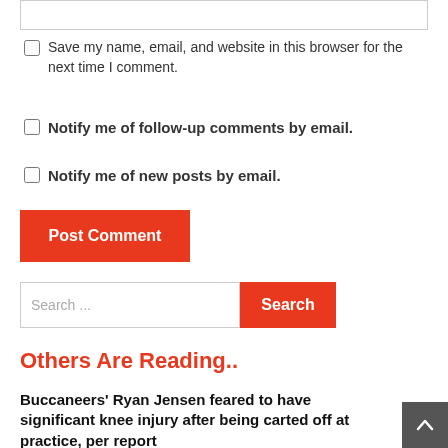Save my name, email, and website in this browser for the next time I comment.
Notify me of follow-up comments by email.
Notify me of new posts by email.
Post Comment
Search ...
Others Are Reading..
Buccaneers' Ryan Jensen feared to have significant knee injury after being carted off at practice, per report